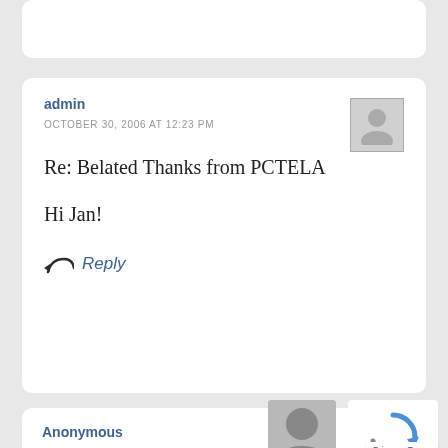(partial top comment card — cropped)
admin
OCTOBER 30, 2006 AT 12:23 PM
Re: Belated Thanks from PCTELA
Hi Jan!
Reply
Anonymous
DECEMBER 13, 2007 AT 6:50 AM